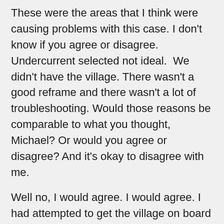These were the areas that I think were causing problems with this case. I don't know if you agree or disagree. Undercurrent selected not ideal.  We didn't have the village. There wasn't a good reframe and there wasn't a lot of troubleshooting. Would those reasons be comparable to what you thought, Michael? Or would you agree or disagree? And it's okay to disagree with me.
Well no, I would agree. I would agree. I had attempted to get the village on board previously, and that was rather difficult. So, that was good. I agree with the reframe because they weren't quite bought into it. I might talk a little bit maybe at the end that I don't know about no troubleshooting, because I cut to the chase and that was a mistake on my part. Then the undercurrent, going back to number one, I